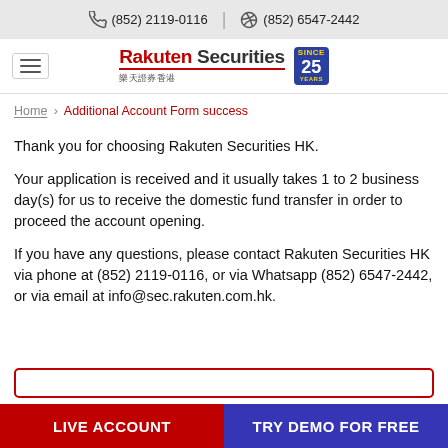(852) 2119-0116  |  (852) 6547-2442
[Figure (logo): Rakuten Securities Hong Kong logo with 25 Years badge]
Home / Additional Account Form success
Thank you for choosing Rakuten Securities HK.
Your application is received and it usually takes 1 to 2 business day(s) for us to receive the domestic fund transfer in order to proceed the account opening.
If you have any questions, please contact Rakuten Securities HK via phone at (852) 2119-0116, or via Whatsapp (852) 6547-2442, or via email at info@sec.rakuten.com.hk.
LIVE ACCOUNT  |  TRY DEMO FOR FREE